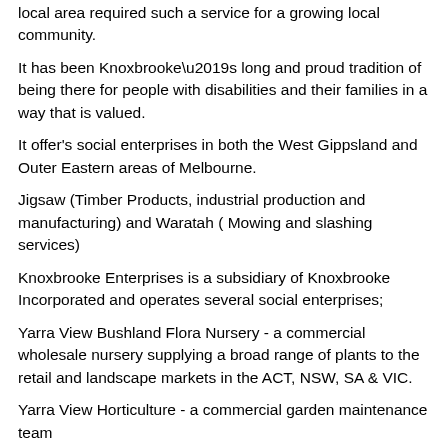local area required such a service for a growing local community.
It has been Knoxbrooke’s long and proud tradition of being there for people with disabilities and their families in a way that is valued.
It offer's social enterprises in both the West Gippsland and Outer Eastern areas of Melbourne.
Jigsaw (Timber Products, industrial production and manufacturing) and Waratah ( Mowing and slashing services)
Knoxbrooke Enterprises is a subsidiary of Knoxbrooke Incorporated and operates several social enterprises;
Yarra View Bushland Flora Nursery - a commercial wholesale nursery supplying a broad range of plants to the retail and landscape markets in the ACT, NSW, SA & VIC.
Yarra View Horticulture - a commercial garden maintenance team
Knoxbrooke Catering - a commercial catering collective